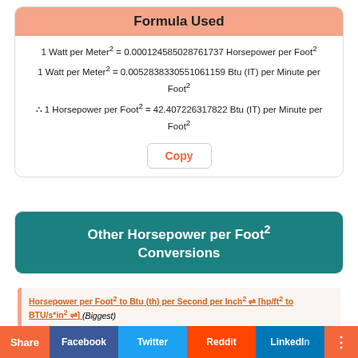Formula Used
Other Horsepower per Foot² Conversions
Horsepower per Foot² to Btu (th) per Second per Inch² ⇌ [hp/ft² to BTU/s*in²] (Biggest)
Horsepower per Foot² to Btu (th) per Second per Inch² ⇌ [hp/ft²
Share | Facebook | Twitter | Reddit | LinkedIn